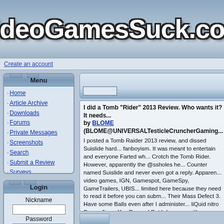VideoGamesSuck.com
Create an account
Menu
Home
Article Archive
Downloads
Forums
Private Messages
Screenshots
Search
Submit a Review
Surveys
Top 10
Your Account
Login
Nickname
Password
I did a Tomb "Rider" 2013 Review. Who wants it? It needs... by BLOME (BLOME@UNIVERSALTesticleCruncherGaming... I posted a Tomb Raider 2013 review, and dissed Suislide hard... fanboyism. It was meant to entertain and everyone Farted wh... Crotch the Tomb Rider. However, apparently the @ssholes he... Counter named Suislide and never even got a reply. Apparen... video games, IGN, Gamespot, GameSpy, GameTrailers, UBIS... limited here because they need to read it before you can subm... Their Mass Defect 3. Have some Balls even after I administer... liQuid nitro Space Jizz... You Pussay! But I do agree with you...